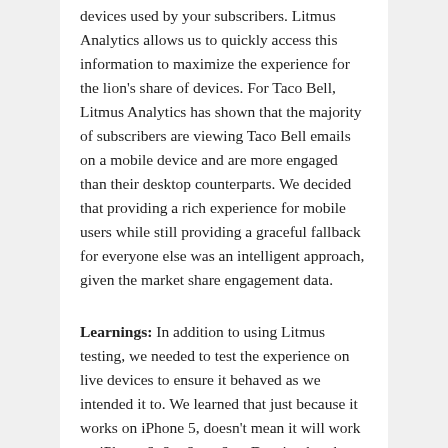devices used by your subscribers. Litmus Analytics allows us to quickly access this information to maximize the experience for the lion's share of devices. For Taco Bell, Litmus Analytics has shown that the majority of subscribers are viewing Taco Bell emails on a mobile device and are more engaged than their desktop counterparts. We decided that providing a rich experience for mobile users while still providing a graceful fallback for everyone else was an intelligent approach, given the market share engagement data.
Learnings: In addition to using Litmus testing, we needed to test the experience on live devices to ensure it behaved as we intended it to. We learned that just because it works on iPhone 5, doesn't mean it will work on iPhone 6, 6+, 6s or 6s+. Despite that there were no